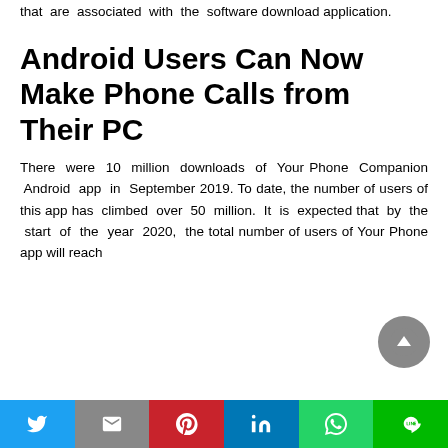that are associated with the software download application.
Android Users Can Now Make Phone Calls from Their PC
There were 10 million downloads of Your Phone Companion Android app in September 2019. To date, the number of users of this app has climbed over 50 million. It is expected that by the start of the year 2020, the total number of users of Your Phone app will reach
Twitter | Gmail | Pinterest | LinkedIn | WhatsApp | LINE